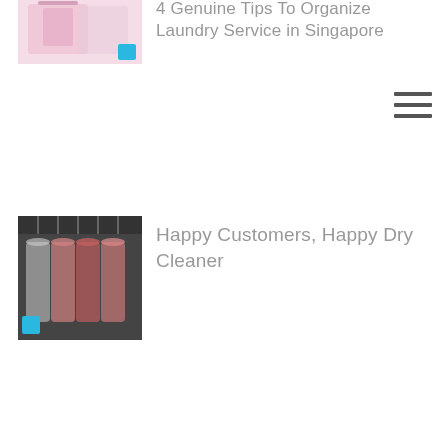[Figure (photo): Thumbnail of laundry/clothing item with teal square badge]
4 Genuine Tips To Organize Laundry Service in Singapore
[Figure (illustration): Hamburger menu icon (three horizontal lines)]
[Figure (photo): Dry cleaned garments in plastic covers hanging on a rack]
Happy Customers, Happy Dry Cleaner
[Figure (photo): White and blue shirts on hangers, dry cleaning themed]
Is Your Dry Cleaning in Singapore a Pocket-Friendly Quest? Here’s What You Can Do.
[Figure (illustration): Back to top button with upward chevron arrow on grey background]
[Figure (photo): Curtain fabric thumbnail with teal badge]
Dry Cleaning Curtains Singapore – Bring New Life To Your Elegant
[Figure (illustration): WhatsApp icon on green background]
[Figure (illustration): Email envelope icon on pink/magenta background]
[Figure (illustration): Phone handset icon on green background]
[Figure (illustration): Facebook icon on dark blue background]